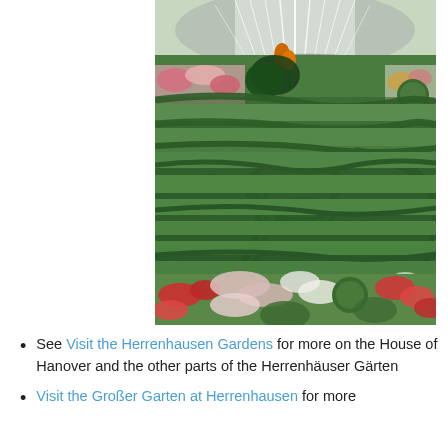[Figure (photo): Aerial/elevated view of the Herrenhausen Gardens showing ornate formal garden with precisely trimmed hedgerows in circular and curved patterns, colorful flower beds with red and pink blooms, topiary ball-shaped bushes, and a large fountain in the background spraying water.]
See Visit the Herrenhausen Gardens for more on the House of Hanover and the other parts of the Herrenhäuser Gärten
Visit the Großer Garten at Herrenhausen for more